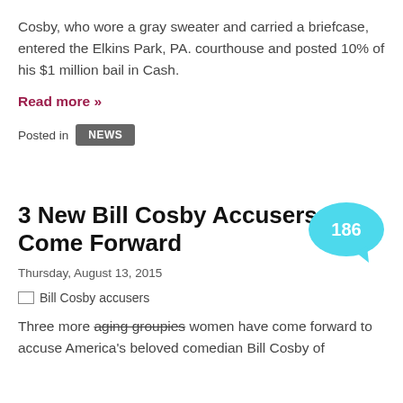Cosby, who wore a gray sweater and carried a briefcase, entered the Elkins Park, PA. courthouse and posted 10% of his $1 million bail in Cash.
Read more »
Posted in NEWS
[Figure (infographic): Cyan speech bubble with the number 186 inside]
3 New Bill Cosby Accusers Come Forward
Thursday, August 13, 2015
[Figure (photo): Bill Cosby accusers image placeholder]
Three more aging groupies women have come forward to accuse America's beloved comedian Bill Cosby of